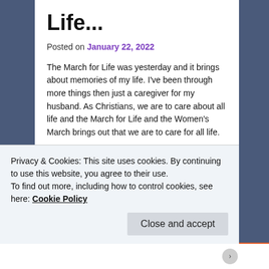Life...
Posted on January 22, 2022
The March for Life was yesterday and it brings about memories of my life. I've been through more things then just a caregiver for my husband. As Christians, we are to care about all life and the March for Life and the Women's March brings out that we are to care for all life.
Back in 2017, I was a part of another blog, the Lutheran Ladies Connection. This is a blog that I
Privacy & Cookies: This site uses cookies. By continuing to use this website, you agree to their use.
To find out more, including how to control cookies, see here: Cookie Policy